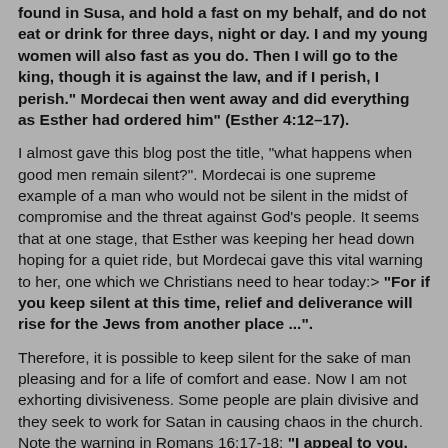found in Susa, and hold a fast on my behalf, and do not eat or drink for three days, night or day. I and my young women will also fast as you do. Then I will go to the king, though it is against the law, and if I perish, I perish." Mordecai then went away and did everything as Esther had ordered him" (Esther 4:12–17).
I almost gave this blog post the title, "what happens when good men remain silent?". Mordecai is one supreme example of a man who would not be silent in the midst of compromise and the threat against God's people. It seems that at one stage, that Esther was keeping her head down hoping for a quiet ride, but Mordecai gave this vital warning to her, one which we Christians need to hear today:> "For if you keep silent at this time, relief and deliverance will rise for the Jews from another place ...".
Therefore, it is possible to keep silent for the sake of man pleasing and for a life of comfort and ease. Now I am not exhorting divisiveness. Some people are plain divisive and they seek to work for Satan in causing chaos in the church. Note the warning in Romans 16:17-18: "I appeal to you, brothers, to watch out for those who cause divisions...